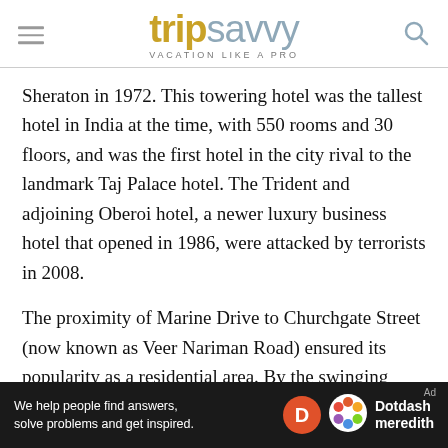tripsavvy VACATION LIKE A PRO
Sheraton in 1972. This towering hotel was the tallest hotel in India at the time, with 550 rooms and 30 floors, and was the first hotel in the city rival to the landmark Taj Palace hotel. The Trident and adjoining Oberoi hotel, a newer luxury business hotel that opened in 1986, were attacked by terrorists in 2008.
The proximity of Marine Drive to Churchgate Street (now known as Veer Nariman Road) ensured its popularity as a residential area. By the swinging sixties, the street was the epicenter of the city's nightlife.
[Figure (other): Dotdash Meredith advertisement banner: 'We help people find answers, solve problems and get inspired.']